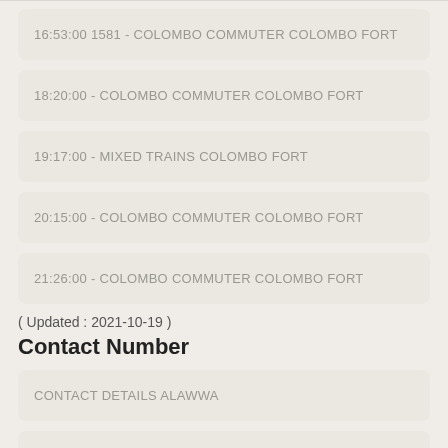16:53:00 1581 - COLOMBO COMMUTER COLOMBO FORT
18:20:00 - COLOMBO COMMUTER COLOMBO FORT
19:17:00 - MIXED TRAINS COLOMBO FORT
20:15:00 - COLOMBO COMMUTER COLOMBO FORT
21:26:00 - COLOMBO COMMUTER COLOMBO FORT
( Updated : 2021-10-19 )
Contact Number
CONTACT DETAILS ALAWWA
CONTACT DETAILS WANDURAWA
Ticket Pri...